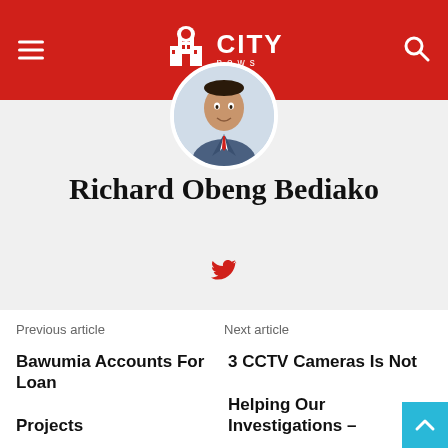CITY news
[Figure (illustration): Circular avatar portrait of Richard Obeng Bediako, a man in a blue suit with a red tie, shown from the chest up against a light background]
Richard Obeng Bediako
[Figure (illustration): Twitter bird icon in red]
Previous article
Next article
Bawumia Accounts For Loan Projects
3 CCTV Cameras Is Not Helping Our Investigations –